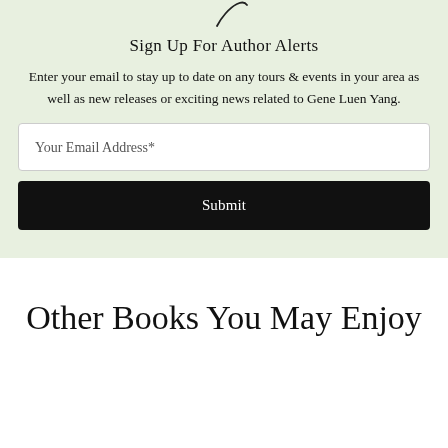[Figure (illustration): Partial decorative script/logo at the top of the green section]
Sign Up For Author Alerts
Enter your email to stay up to date on any tours & events in your area as well as new releases or exciting news related to Gene Luen Yang.
Your Email Address*
Submit
Other Books You May Enjoy